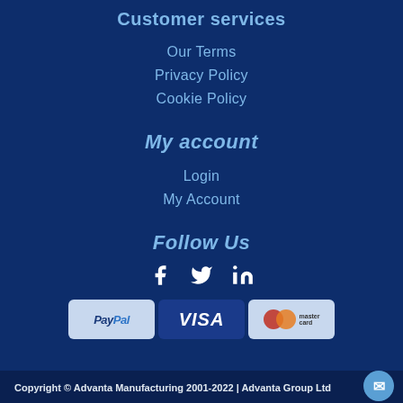Customer services
Our Terms
Privacy Policy
Cookie Policy
My account
Login
My Account
Follow Us
[Figure (other): Social media icons: Facebook, Twitter, LinkedIn]
[Figure (other): Payment method logos: PayPal, VISA, Mastercard]
Copyright © Advanta Manufacturing 2001-2022 | Advanta Group Ltd